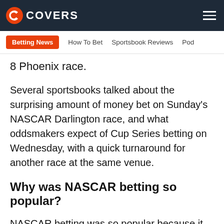COVERS
Betting News | How To Bet | Sportsbook Reviews | Pod
8 Phoenix race.
Several sportsbooks talked about the surprising amount of money bet on Sunday's NASCAR Darlington race, and what oddsmakers expect of Cup Series betting on Wednesday, with a quick turnaround for another race at the same venue.
Why was NASCAR betting so popular?
NASCAR betting was so popular because it was